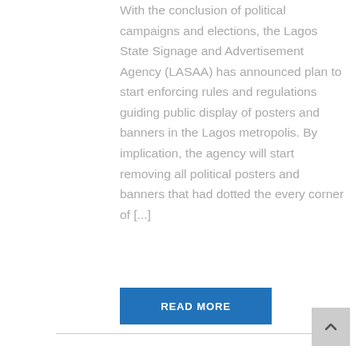With the conclusion of political campaigns and elections, the Lagos State Signage and Advertisement Agency (LASAA) has announced plan to start enforcing rules and regulations guiding public display of posters and banners in the Lagos metropolis. By implication, the agency will start removing all political posters and banners that had dotted the every corner of [...]
READ MORE